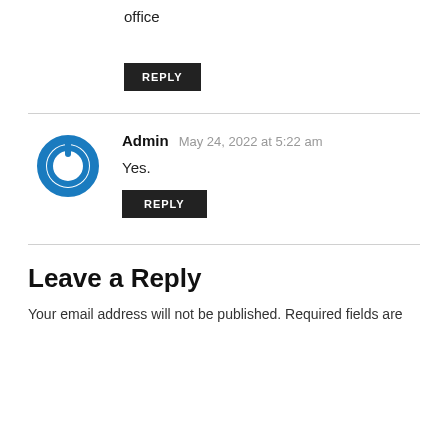office
REPLY
Admin  May 24, 2022 at 5:22 am
Yes.
REPLY
Leave a Reply
Your email address will not be published. Required fields are